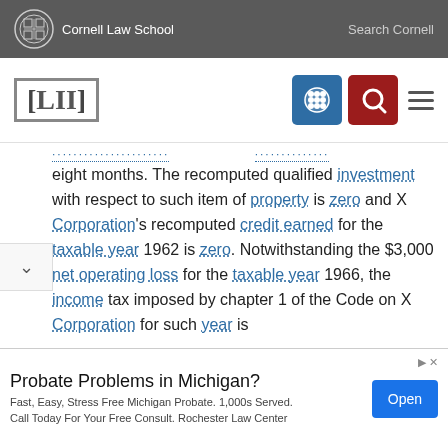Cornell Law School | Search Cornell
[Figure (logo): LII Legal Information Institute navigation bar with Cornell Law School branding, blue grid icon, red search icon, and hamburger menu]
eight months. The recomputed qualified investment with respect to such item of property is zero and X Corporation's recomputed credit earned for the taxable year 1962 is zero. Notwithstanding the $3,000 net operating loss for the taxable year 1966, the income tax imposed by chapter 1 of the Code on X Corporation for such year is
[Figure (infographic): Advertisement banner: Probate Problems in Michigan? Fast, Easy, Stress Free Michigan Probate. 1,000s Served. Call Today For Your Free Consult. Rochester Law Center. With Open button.]